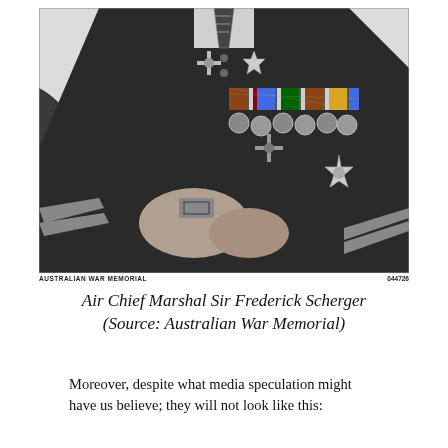[Figure (photo): Black and white photograph of Air Chief Marshal Sir Frederick Scherger in military dress uniform, showing medals and decorations on his chest, with hands folded. Photo credit: Australian War Memorial, catalog number 044726.]
Air Chief Marshal Sir Frederick Scherger (Source: Australian War Memorial)
Moreover, despite what media speculation might have us believe; they will not look like this: